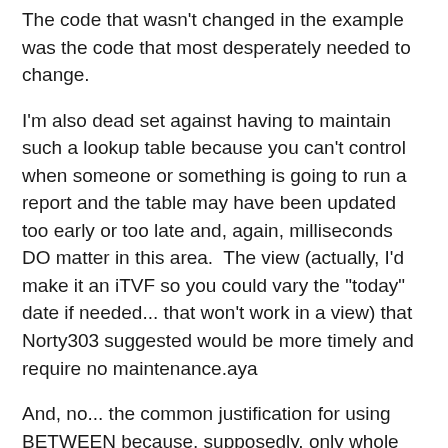The code that wasn't changed in the example was the code that most desperately needed to change.
I'm also dead set against having to maintain such a lookup table because you can't control when someone or something is going to run a report and the table may have been updated too early or too late and, again, milliseconds DO matter in this area.  The view (actually, I'd make it an iTVF so you could vary the "today" date if needed... that won't work in a view) that Norty303 suggested would be more timely and require no maintenance.aya
And, no... the common justification for using BETWEEN because, supposedly, only whole dates will be used in the tables doesn't hold water because you simply cannot control what may happen to that table in the future. Someone may suddenly decide that the datatype and the